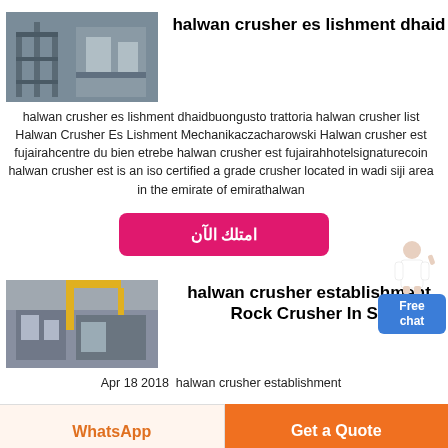[Figure (photo): Industrial crusher facility building exterior with scaffolding]
halwan crusher es lishment dhaid
halwan crusher es lishment dhaidbuongusto trattoria halwan crusher list Halwan Crusher Es Lishment Mechanikaczacharowski Halwan crusher est fujairahcentre du bien etrebe halwan crusher est fujairahhotelsignaturecoin halwan crusher est is an iso certified a grade crusher located in wadi siji area in the emirate of emirathalwan
امتلك الآن
[Figure (photo): Industrial rock crusher equipment facility]
halwan crusher establishment Rock Crusher In Sa
Apr 18 2018  halwan crusher establishment
Free chat
WhatsApp
Get a Quote